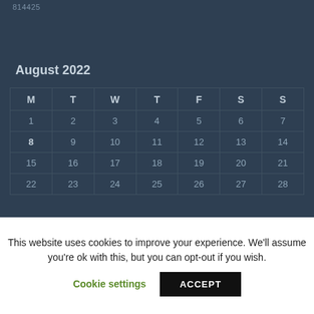814425
August 2022
| M | T | W | T | F | S | S |
| --- | --- | --- | --- | --- | --- | --- |
| 1 | 2 | 3 | 4 | 5 | 6 | 7 |
| 8 | 9 | 10 | 11 | 12 | 13 | 14 |
| 15 | 16 | 17 | 18 | 19 | 20 | 21 |
| 22 | 23 | 24 | 25 | 26 | 27 | 28 |
This website uses cookies to improve your experience. We'll assume you're ok with this, but you can opt-out if you wish.
Cookie settings   ACCEPT